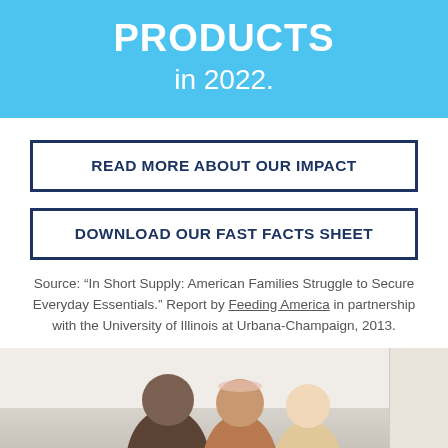PRODUCTS in 2022.
READ MORE ABOUT OUR IMPACT
DOWNLOAD OUR FAST FACTS SHEET
Source: “In Short Supply: American Families Struggle to Secure Everyday Essentials.” Report by Feeding America in partnership with the University of Illinois at Urbana-Champaign, 2013.
[Figure (photo): Photo of three people (children/young adults) from the shoulders up — one with dark skin on the left, one with curly hair and a floral headband in the middle, and one with light hair on the right, viewed from slightly above against a light indoor background.]